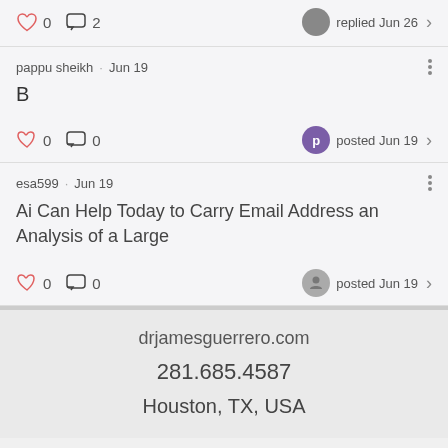0  2  replied Jun 26
pappu sheikh · Jun 19
B
0  0  posted Jun 19
esa599 · Jun 19
Ai Can Help Today to Carry Email Address an Analysis of a Large
0  0  posted Jun 19
drjamesguerrero.com
281.685.4587
Houston, TX, USA